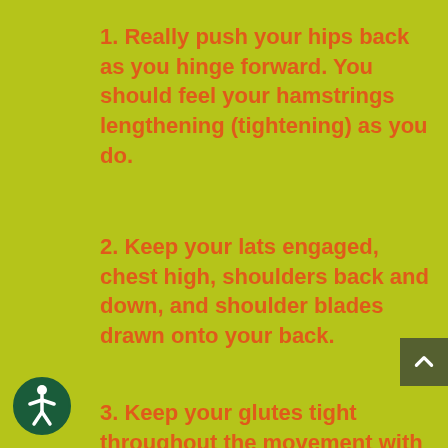1. Really push your hips back as you hinge forward. You should feel your hamstrings lengthening (tightening) as you do.
2. Keep your lats engaged, chest high, shoulders back and down, and shoulder blades drawn onto your back.
3. Keep your glutes tight throughout the movement with an extra contraction as you stand back up.